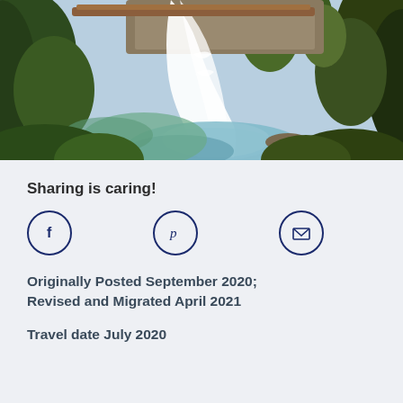[Figure (photo): Aerial view of a waterfall flowing into a green pool surrounded by trees and rocks]
Sharing is caring!
[Figure (infographic): Three social sharing icons: Facebook (f), Pinterest (p), and Email (envelope), each in a dark blue circle outline]
Originally Posted September 2020; Revised and Migrated April 2021
Travel date July 2020